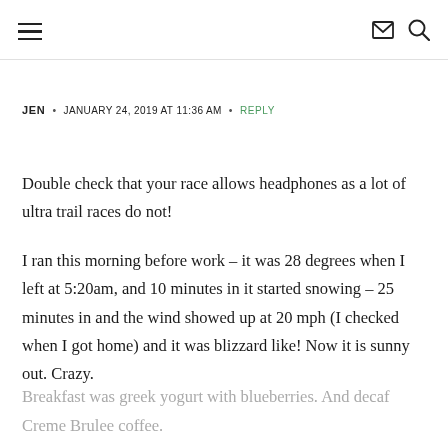≡  ✉ 🔍
JEN  •  JANUARY 24, 2019 AT 11:36 AM  •  REPLY
Double check that your race allows headphones as a lot of ultra trail races do not!

I ran this morning before work – it was 28 degrees when I left at 5:20am, and 10 minutes in it started snowing – 25 minutes in and the wind showed up at 20 mph (I checked when I got home) and it was blizzard like! Now it is sunny out. Crazy.
Breakfast was greek yogurt with blueberries. And decaf Creme Brulee coffee.